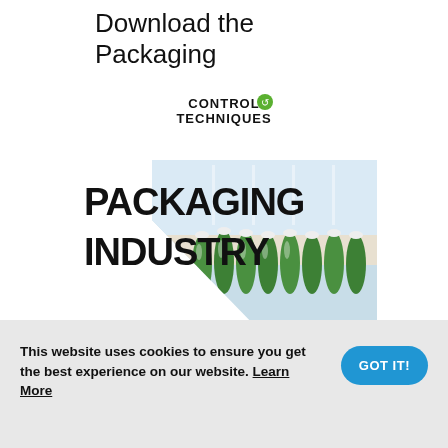Download the Packaging Brochure
[Figure (illustration): Control Techniques Packaging Industry brochure cover showing the brand logo at top, large bold text 'PACKAGING INDUSTRY', and a diagonal diamond-shaped photo of green bottles on a conveyor line in a factory setting.]
This website uses cookies to ensure you get the best experience on our website. Learn More